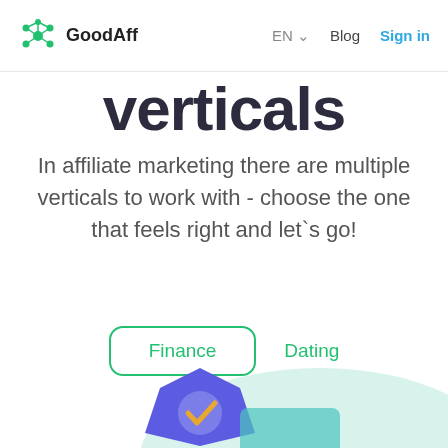GoodAff  EN  Blog  Sign in
verticals
In affiliate marketing there are multiple verticals to work with - choose the one that feels right and let`s go!
Finance
Dating
[Figure (illustration): Partial view of a shield/security illustration with blue pentagon shape and teal/mint curved background element]